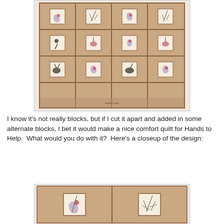[Figure (photo): Photograph of a quilt with a 4x4 grid of square blocks, each featuring botanical/floral embroidery designs on a beige background, surrounded by brown/tan patterned fabric borders arranged in an octagonal frame pattern.]
I know it's not really blocks, but if I cut it apart and added in some alternate blocks, I bet it would make a nice comfort quilt for Hands to Help.  What would you do with it?  Here's a closeup of the design:
[Figure (photo): Closeup photograph of two quilt blocks side by side, showing detailed botanical/floral embroidery designs on beige squares, surrounded by brown/tan patterned octagonal border fabric.]